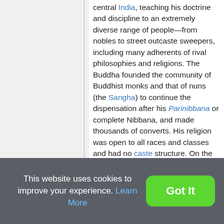central India, teaching his doctrine and discipline to an extremely diverse range of people—from nobles to street outcaste sweepers, including many adherents of rival philosophies and religions. The Buddha founded the community of Buddhist monks and that of nuns (the Sangha) to continue the dispensation after his Parinibbana or complete Nibbana, and made thousands of converts. His religion was open to all races and classes and had no caste structure. On the other hand, Buddhist texts record that he was reluctant to ordain women as nuns: he eventually accepted them on the grounds that their
This website uses cookies to improve your experience. Learn More